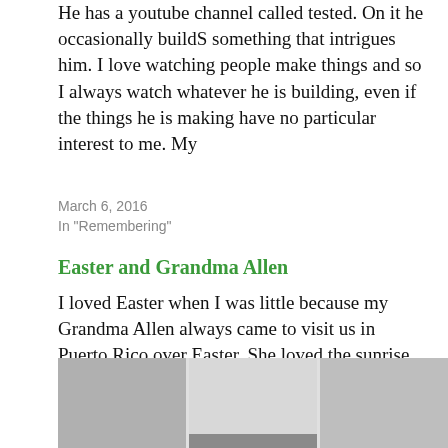He has a youtube channel called tested.  On it he occasionally buildS something that intrigues him.  I love watching people make things and so I always watch whatever he is building, even if the things he is making have no particular interest to me. My
March 6, 2016
In "Remembering"
Easter and Grandma Allen
I loved Easter when I was little because my Grandma Allen always came to visit us in Puerto Rico over Easter.  She loved the sunrise service they did on El Morro (the old fort in San Juan).  I loved going to that service as well, because it was
March 26, 2016
In "Remembering"
[Figure (photo): A photograph of what appears to be a room interior with white walls and shelving or blinds visible, shown in grayscale tones.]